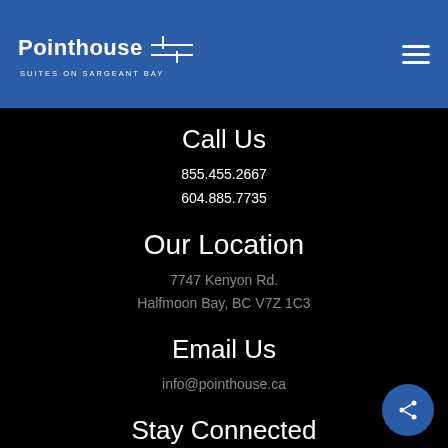Pointhouse SUITES ON SARGEANT BAY
Call Us
855.455.2667
604.885.7735
Our Location
7747 Kenyon Rd.
Halfmoon Bay, BC V7Z 1C3
Email Us
info@pointhouse.ca
Stay Connected
Follow us on social media